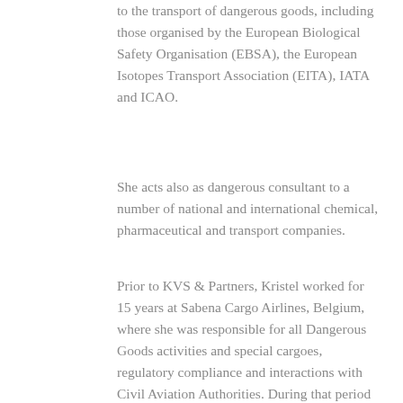to the transport of dangerous goods, including those organised by the European Biological Safety Organisation (EBSA), the European Isotopes Transport Association (EITA), IATA and ICAO.
She acts also as dangerous consultant to a number of national and international chemical, pharmaceutical and transport companies.
Prior to KVS & Partners, Kristel worked for 15 years at Sabena Cargo Airlines, Belgium, where she was responsible for all Dangerous Goods activities and special cargoes, regulatory compliance and interactions with Civil Aviation Authorities. During that period she was also member of the IATA Dangerous Goods Board.
Kristel obtained a master in chemistry and Biochemistry at the Catholic University of Leuven